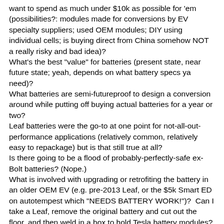want to spend as much under $10k as possible for 'em (possibilities?: modules made for conversions by EV specialty suppliers; used OEM modules; DIY using individual cells; is buying direct from China somehow NOT a really risky and bad idea)? What's the best "value" for batteries (present state, near future state; yeah, depends on what battery specs ya need)? What batteries are semi-futureproof to design a conversion around while putting off buying actual batteries for a year or two? Leaf batteries were the go-to at one point for not-all-out-performance applications (relatively common, relatively easy to repackage) but is that still true at all? Is there going to be a flood of probably-perfectly-safe ex-Bolt batteries? (Nope.) What is involved with upgrading or retrofiting the battery in an older OEM EV (e.g. pre-2013 Leaf, or the $5k Smart ED on autotempest which "NEEDS BATTERY WORK!")? Can I take a Leaf, remove the original battery and cut out the floor, and then weld in a box to hold Tesla battery modules? Obviously I don't care about the interior of the car or being able to carry